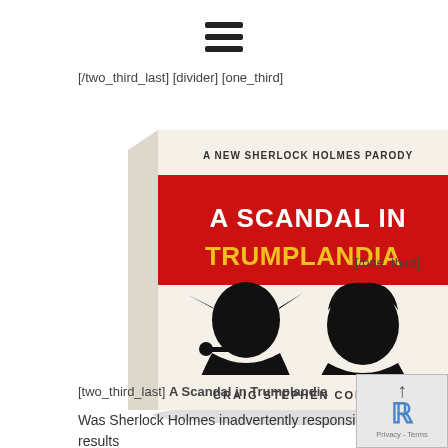[Figure (other): Hamburger menu icon (three horizontal lines)]
[/two_third_last] [divider] [one_third]
[Figure (illustration): Book cover of 'A Scandal in Trumplandia' by Craig Stephen Copland. A New Sherlock Holmes Parody. Red band with title text. Black silhouettes of Sherlock Holmes and Trump profiles.]
[/one_third]
[two_third_last] A Scandal in Trumplandia
Was Sherlock Holmes inadvertently responsible for the results